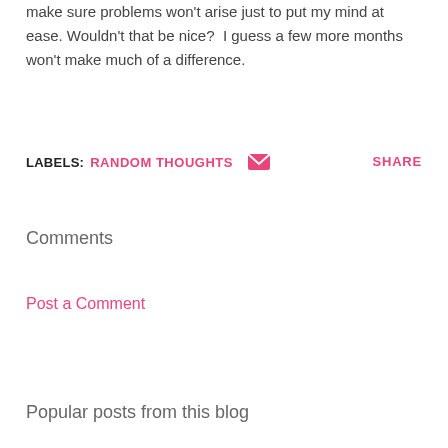make sure problems won't arise just to put my mind at ease. Wouldn't that be nice?  I guess a few more months won't make much of a difference.
LABELS: RANDOM THOUGHTS   [email icon]   SHARE
Comments
Post a Comment
Popular posts from this blog